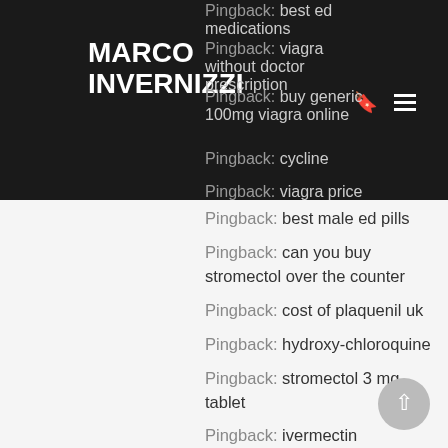MARCO INVERNIZZI
Pingback: best ed medications
Pingback: viagra without doctor prescription
Pingback: buy generic 100mg viagra online
Pingback: cycline
Pingback: viagra price
Pingback: best male ed pills
Pingback: can you buy stromectol over the counter
Pingback: cost of plaquenil uk
Pingback: hydroxy-chloroquine
Pingback: stromectol 3 mg tablet
Pingback: ivermectin
Pingback: online medication
Pingback: cheap erectile dysfunction
Pingback: cheap pills online
Pingback: viagra without a doctor prescription usa
Pingback: viagra over the counter walmart
Pingback: buy cialis with paypal
Pingback: buy cialis in miami
Pingback: cialis viagra online